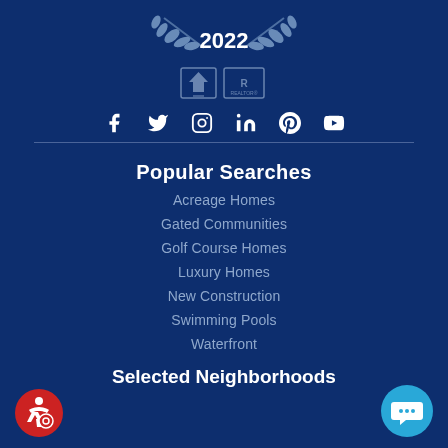[Figure (logo): Award badge with laurel wreath and year 2022]
[Figure (logo): Equal Housing Opportunity and REALTOR logos]
[Figure (infographic): Social media icons row: Facebook, Twitter, Instagram, LinkedIn, Pinterest, YouTube]
Popular Searches
Acreage Homes
Gated Communities
Golf Course Homes
Luxury Homes
New Construction
Swimming Pools
Waterfront
Selected Neighborhoods